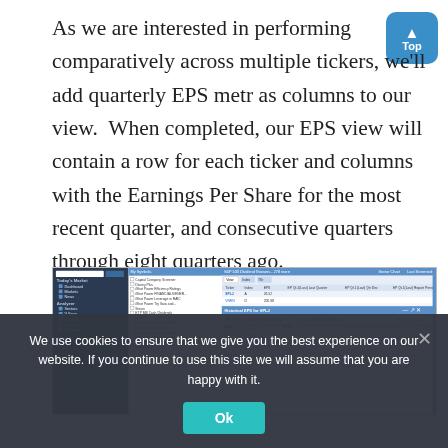As we are interested in performing comparatively across multiple tickers, we'll add quarterly EPS metrics as columns to our view.  When completed, our EPS view will contain a row for each ticker and columns with the Earnings Per Share for the most recent quarter, and consecutive quarters through eight quarters ago.
[Figure (screenshot): Screenshot of a financial data platform showing a Historical EPS data popup with quarterly EPS figures. The interface shows a sidebar navigation, a list of market items, and a Historical EPS table with dates and EPS values including Q3 2026, Q3 2026, Q3 2026, Q3 2026 rows with values $7.75, $7.01, $1.04, $7.36.]
We use cookies to ensure that we give you the best experience on our website. If you continue to use this site we will assume that you are happy with it.